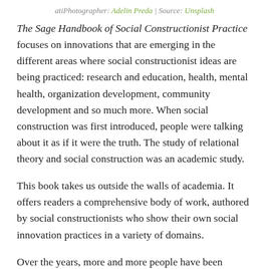atiPhotographer: Adelin Preda | Source: Unsplash
The Sage Handbook of Social Constructionist Practice focuses on innovations that are emerging in the different areas where social constructionist ideas are being practiced: research and education, health, mental health, organization development, community development and so much more. When social construction was first introduced, people were talking about it as if it were the truth. The study of relational theory and social construction was an academic study.
This book takes us outside the walls of academia. It offers readers a comprehensive body of work, authored by social constructionists who show their own social innovation practices in a variety of domains.
Over the years, more and more people have been embracing these ideas and using them in all sorts of